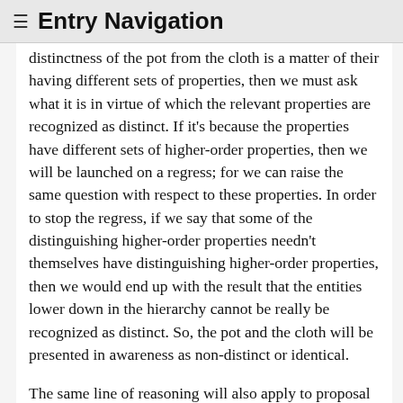≡ Entry Navigation
distinctness of the pot from the cloth is a matter of their having different sets of properties, then we must ask what it is in virtue of which the relevant properties are recognized as distinct. If it's because the properties have different sets of higher-order properties, then we will be launched on a regress; for we can raise the same question with respect to these properties. In order to stop the regress, if we say that some of the distinguishing higher-order properties needn't themselves have distinguishing higher-order properties, then we would end up with the result that the entities lower down in the hierarchy cannot be really be recognized as distinct. So, the pot and the cloth will be presented in awareness as non-distinct or identical.
The same line of reasoning will also apply to proposal (d), which claims that distinctness is a matter of possessing a property like separateness. If the pot is distinct from the cloth in virtue of possessing the property of cloth-separateness, and the cloth is distinct from the pot in virtue of possessing the property of pot-separateness, then